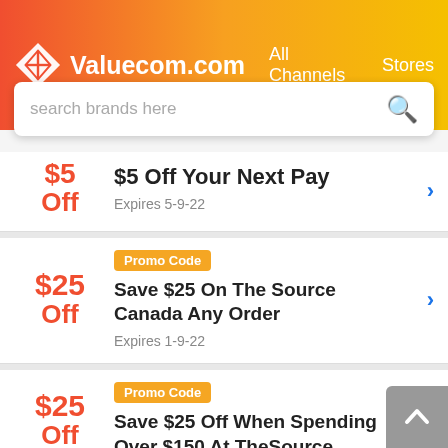Valuecom.com All Channels Stores
search brands here
$5 Off Your Next Pay – Expires 5-9-22
Promo Code – Save $25 On The Source Canada Any Order – Expires 1-9-22
Promo Code – Save $25 Off When Spending Over $150 At TheSource